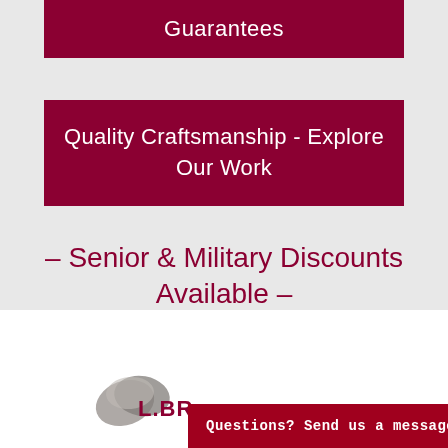Guarantees
Quality Craftsmanship - Explore Our Work
– Senior & Military Discounts Available –
[Figure (logo): L. Brown Asphalt company logo with grey swoosh circles and dark red text]
Questions? Send us a message!